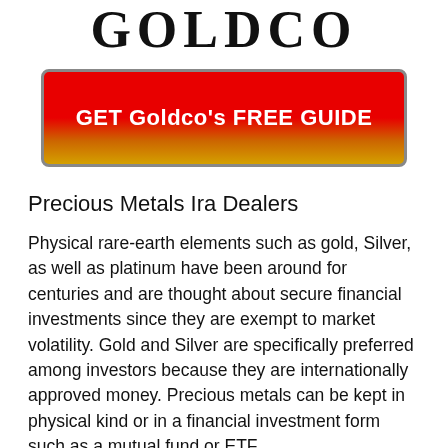GOLDCO
[Figure (other): Red to orange/yellow gradient button with white bold text reading: GET Goldco's FREE GUIDE]
Precious Metals Ira Dealers
Physical rare-earth elements such as gold, Silver, as well as platinum have been around for centuries and are thought about secure financial investments since they are exempt to market volatility. Gold and Silver are specifically preferred among investors because they are internationally approved money. Precious metals can be kept in physical kind or in a financial investment form such as a mutual fund or ETF.